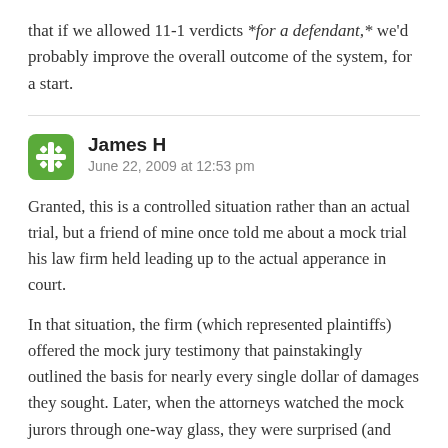that if we allowed 11-1 verdicts *for a defendant,* we'd probably improve the overall outcome of the system, for a start.
James H
June 22, 2009 at 12:53 pm
Granted, this is a controlled situation rather than an actual trial, but a friend of mine once told me about a mock trial his law firm held leading up to the actual apperance in court.
In that situation, the firm (which represented plaintiffs) offered the mock jury testimony that painstakingly outlined the basis for nearly every single dollar of damages they sought. Later, when the attorneys watched the mock jurors through one-way glass, they were surprised (and horrified) that the mock jurors did not approach damages on a line-by-line basis, but rather